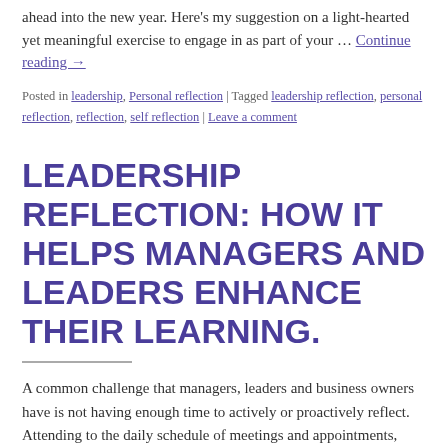ahead into the new year. Here's my suggestion on a light-hearted yet meaningful exercise to engage in as part of your … Continue reading →
Posted in leadership, Personal reflection | Tagged leadership reflection, personal reflection, reflection, self reflection | Leave a comment
LEADERSHIP REFLECTION: HOW IT HELPS MANAGERS AND LEADERS ENHANCE THEIR LEARNING.
A common challenge that managers, leaders and business owners have is not having enough time to actively or proactively reflect.  Attending to the daily schedule of meetings and appointments,  managing the team, customers and key relationships along with scheduled this…